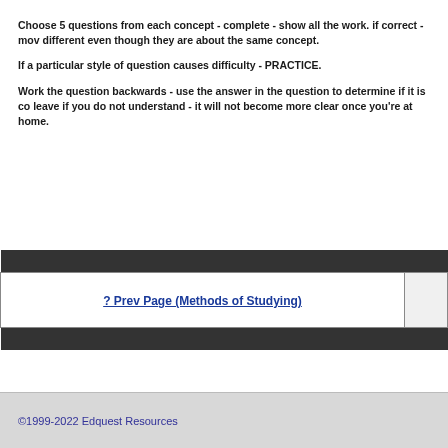Choose 5 questions from each concept - complete - show all the work. if correct -mov different even though they are about the same concept.
If a particular style of question causes difficulty - PRACTICE.
Work the question backwards - use the answer in the question to determine if it is co leave if you do not understand - it will not become more clear once you're at home.
| ? Prev Page (Methods of Studying) |  |
| --- | --- |
©1999-2022 Edquest Resources